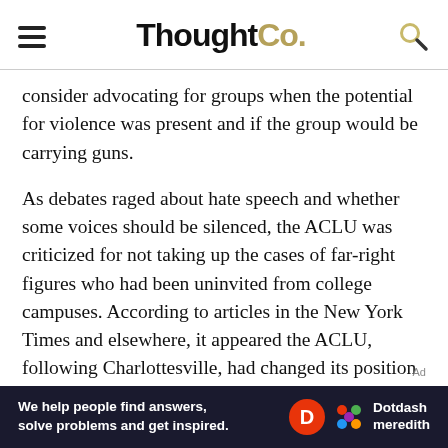ThoughtCo.
consider advocating for groups when the potential for violence was present and if the group would be carrying guns.
As debates raged about hate speech and whether some voices should be silenced, the ACLU was criticized for not taking up the cases of far-right figures who had been uninvited from college campuses. According to articles in the New York Times and elsewhere, it appeared the ACLU, following Charlottesville, had changed its position on which cases to handle.
For decades, supporters of the ACLU contended that the only client the organization ever really had was the Constitution itself. And advocating for civil liberties, even for characters
[Figure (logo): Dotdash Meredith advertisement banner at the bottom: 'We help people find answers, solve problems and get inspired.' with Dotdash Meredith logo]